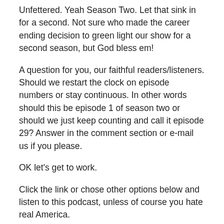Unfettered. Yeah Season Two. Let that sink in for a second. Not sure who made the career ending decision to green light our show for a second season, but God bless em!
A question for you, our faithful readers/listeners. Should we restart the clock on episode numbers or stay continuous. In other words should this be episode 1 of season two or should we just keep counting and call it episode 29? Answer in the comment section or e-mail us if you please.
OK let's get to work.
Click the link or chose other options below and listen to this podcast, unless of course you hate real America.
Episode 1 or 29: New Year – Old News